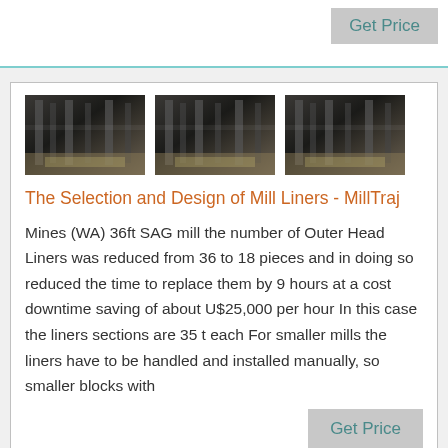[Figure (photo): Three industrial mill/factory interior images side by side showing machinery and equipment in a large facility]
The Selection and Design of Mill Liners - MillTraj
Mines (WA) 36ft SAG mill the number of Outer Head Liners was reduced from 36 to 18 pieces and in doing so reduced the time to replace them by 9 hours at a cost downtime saving of about U$25,000 per hour In this case the liners sections are 35 t each For smaller mills the liners have to be handled and installed manually, so smaller blocks with